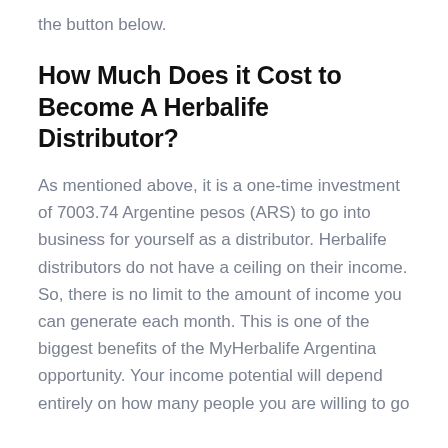the button below.
How Much Does it Cost to Become A Herbalife Distributor?
As mentioned above, it is a one-time investment of 7003.74 Argentine pesos (ARS) to go into business for yourself as a distributor. Herbalife distributors do not have a ceiling on their income. So, there is no limit to the amount of income you can generate each month. This is one of the biggest benefits of the MyHerbalife Argentina opportunity. Your income potential will depend entirely on how many people you are willing to go